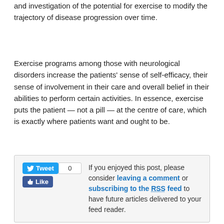and investigation of the potential for exercise to modify the trajectory of disease progression over time.
Exercise programs among those with neurological disorders increase the patients' sense of self-efficacy, their sense of involvement in their care and overall belief in their abilities to perform certain activities. In essence, exercise puts the patient — not a pill — at the centre of care, which is exactly where patients want and ought to be.
If you enjoyed this post, please consider leaving a comment or subscribing to the RSS feed to have future articles delivered to your feed reader.